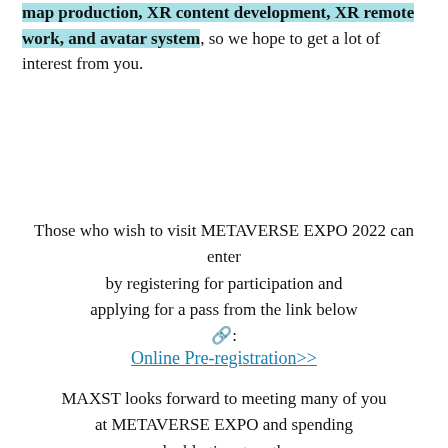map production, XR content development, XR remote work, and avatar system, so we hope to get a lot of interest from you.
Those who wish to visit METAVERSE EXPO 2022 can enter by registering for participation and applying for a pass from the link below 🔗:
Online Pre-registration>>
MAXST looks forward to meeting many of you at METAVERSE EXPO and spending valuable time together.